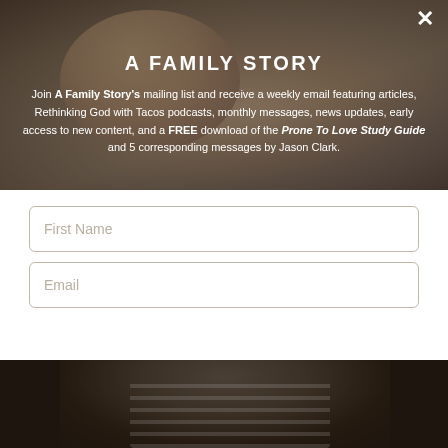[Figure (photo): Background photo of a smiling woman with red hair sitting at a cafe table with a laptop, warm bokeh background lights]
A FAMILY STORY
Join A Family Story's mailing list and receive a weekly email featuring articles, Rethinking God with Tacos podcasts, monthly messages, news updates, early access to new content, and a FREE download of the Prone To Love Study Guide and 5 corresponding messages by Jason Clark.
First Name
Email
SUBSCRIBE
[Figure (photo): Background photo of a couple embracing, partial view, dark background]